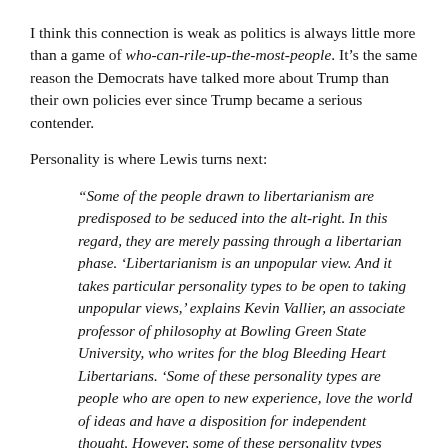I think this connection is weak as politics is always little more than a game of who-can-rile-up-the-most-people. It's the same reason the Democrats have talked more about Trump than their own policies ever since Trump became a serious contender.
Personality is where Lewis turns next:
“Some of the people drawn to libertarianism are predisposed to be seduced into the alt-right. In this regard, they are merely passing through a libertarian phase. ‘Libertarianism is an unpopular view. And it takes particular personality types to be open to taking unpopular views,’ explains Kevin Vallier, an associate professor of philosophy at Bowling Green State University, who writes for the blog Bleeding Heart Libertarians. ‘Some of these personality types are people who are open to new experience, love the world of ideas and have a disposition for independent thought. However, some of these personality types simply enjoy holding outrageous and provocative views, who like to argue and fight with others, and like irritating the left.’”